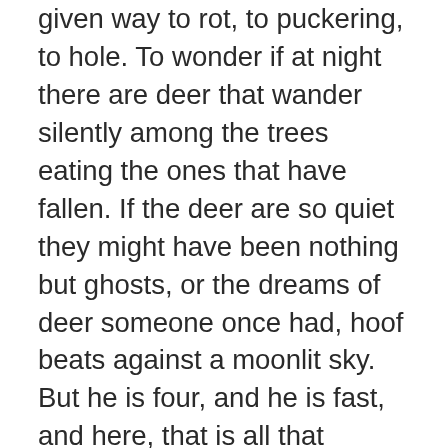given way to rot, to puckering, to hole. To wonder if at night there are deer that wander silently among the trees eating the ones that have fallen. If the deer are so quiet they might have been nothing but ghosts, or the dreams of deer someone once had, hoof beats against a moonlit sky. But he is four, and he is fast, and here, that is all that matters, the way the feet move amongst the trees, around the apples and up the silent orchard lane, as if he is the ghost deer chased now, flushed from thicket of leaves into bright and sudden light.
So instead it is me who stops in the